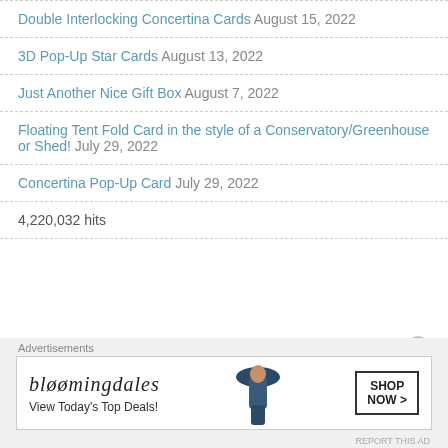Double Interlocking Concertina Cards August 15, 2022
3D Pop-Up Star Cards August 13, 2022
Just Another Nice Gift Box August 7, 2022
Floating Tent Fold Card in the style of a Conservatory/Greenhouse or Shed! July 29, 2022
Concertina Pop-Up Card July 29, 2022
4,220,032 hits
Advertisements
[Figure (other): Bloomingdale's advertisement banner: 'View Today's Top Deals!' with a woman wearing a large hat and a 'SHOP NOW >' button]